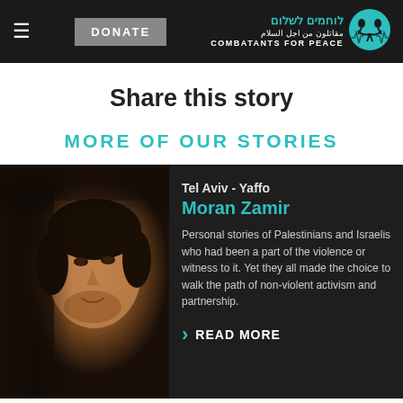DONATE | COMBATANTS FOR PEACE
Share this story
MORE OF OUR STORIES
[Figure (photo): Portrait photo of Moran Zamir, a young man with curly dark hair and beard, smiling slightly, dark background]
Tel Aviv - Yaffo
Moran Zamir
Personal stories of Palestinians and Israelis who had been a part of the violence or witness to it. Yet they all made the choice to walk the path of non-violent activism and partnership.
READ MORE